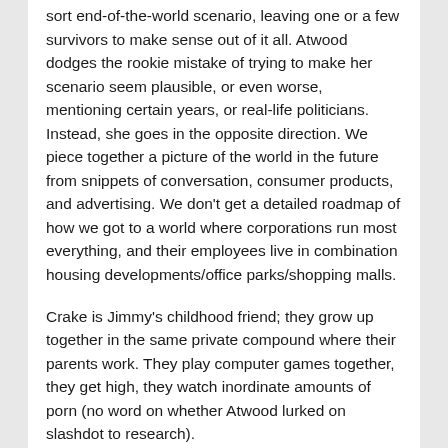sort end-of-the-world scenario, leaving one or a few survivors to make sense out of it all. Atwood dodges the rookie mistake of trying to make her scenario seem plausible, or even worse, mentioning certain years, or real-life politicians. Instead, she goes in the opposite direction. We piece together a picture of the world in the future from snippets of conversation, consumer products, and advertising. We don't get a detailed roadmap of how we got to a world where corporations run most everything, and their employees live in combination housing developments/office parks/shopping malls.
Crake is Jimmy's childhood friend; they grow up together in the same private compound where their parents work. They play computer games together, they get high, they watch inordinate amounts of porn (no word on whether Atwood lurked on slashdot to research).
Like a lot of the little aspects of life in this future world, the computer games that Jimmy and Crake play are fleshed out almost to the point that it's hard to believe these aren't